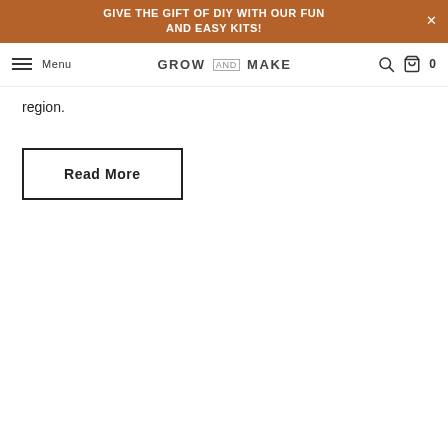GIVE THE GIFT OF DIY WITH OUR FUN AND EASY KITS!
GROW AND MAKE — Menu — 0
region.
Read More